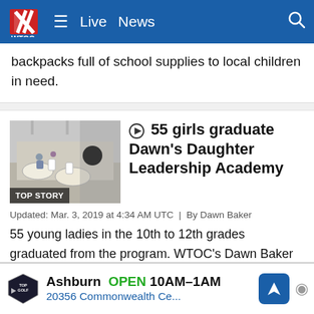WTOC — Live | News
backpacks full of school supplies to local children in need.
55 girls graduate Dawn's Daughter Leadership Academy
Updated: Mar. 3, 2019 at 4:34 AM UTC  |  By Dawn Baker
55 young ladies in the 10th to 12th grades graduated from the program. WTOC's Dawn Baker created this program as a way to empower girls and women to set high goals and make positive life choices that will enable them to maximize their full potential.
[Figure (photo): Photo of a graduation event with tables, chairs, and attendees. Labeled TOP STORY.]
Ashburn  OPEN  10AM–1AM  20356 Commonwealth Ce...